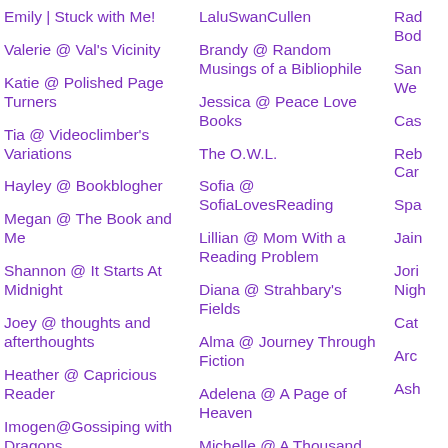Emily | Stuck with Me!
LaluSwanCullen
Rad
Bod
Valerie @ Val's Vicinity
Brandy @ Random Musings of a Bibliophile
San
We
Katie @ Polished Page Turners
Jessica @ Peace Love Books
Cas
Tia @ Videoclimber's Variations
The O.W.L.
Reb
Car
Hayley @ Bookblogher
Sofia @ SofiaLovesReading
Spa
Megan @ The Book and Me
Lillian @ Mom With a Reading Problem
Jain
Shannon @ It Starts At Midnight
Diana @ Strahbary's Fields
Jori
Nigh
Joey @ thoughts and afterthoughts
Alma @ Journey Through Fiction
Cat
Heather @ Capricious Reader
Adelena @ A Page of Heaven
Arc
Imogen@Gossiping with Dragons
Michelle @ A Thousand Lives Lived
Ash